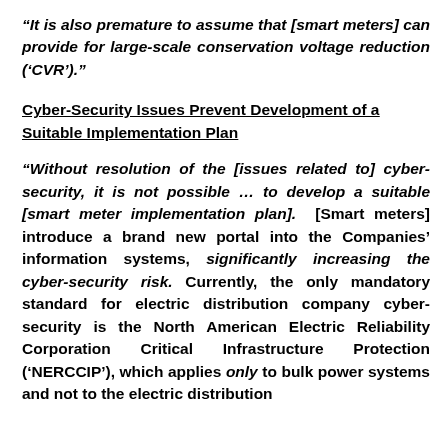“It is also premature to assume that [smart meters] can provide for large-scale conservation voltage reduction (‘CVR’).”
Cyber-Security Issues Prevent Development of a Suitable Implementation Plan
“Without resolution of the [issues related to] cyber-security, it is not possible … to develop a suitable [smart meter implementation plan]. [Smart meters] introduce a brand new portal into the Companies’ information systems, significantly increasing the cyber-security risk. Currently, the only mandatory standard for electric distribution company cyber-security is the North American Electric Reliability Corporation Critical Infrastructure Protection (‘NERCCIP’), which applies only to bulk power systems and not to the electric distribution